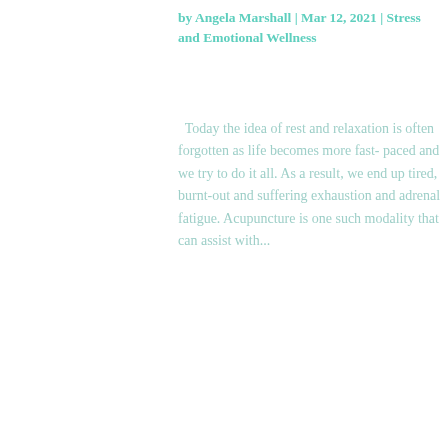by Angela Marshall | Mar 12, 2021 | Stress and Emotional Wellness
Today the idea of rest and relaxation is often forgotten as life becomes more fast- paced and we try to do it all. As a result, we end up tired, burnt-out and suffering exhaustion and adrenal fatigue. Acupuncture is one such modality that can assist with...